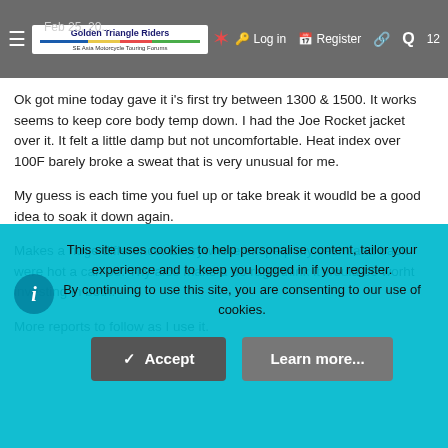Golden Triangle Riders — SE Asia Motorcycle Touring Forums | Log in | Register | Search
Feb 25, 20...
Ok got mine today gave it i's first try between 1300 & 1500. It works seems to keep core body temp down. I had the Joe Rocket jacket over it. It felt a little damp but not uncomfortable. Heat index over 100F barely broke a sweat that is very unusual for me.
My guess is each time you fuel up or take break it woudld be a good idea to soak it down again.
Makes a huge difference. Everywhere excpetp my cesht and back were hot a can be. Thy alos make a do rag I think it would be worht investing in both.
More reports to follow as I use it.
This site uses cookies to help personalise content, tailor your experience and to keep you logged in if you register. By continuing to use this site, you are consenting to our use of cookies.